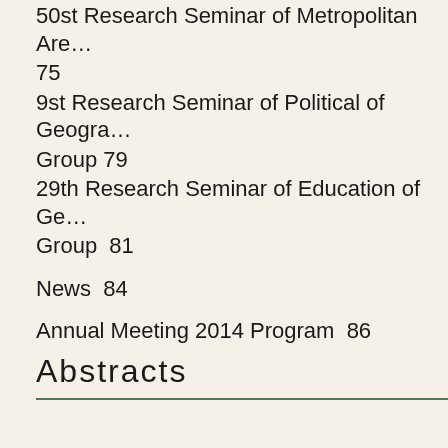50st Research Seminar of Metropolitan Are… 75
9st Research Seminar of Political of Geogra… Group 79
29th Research Seminar of Education of Ge… Group  81
News  84
Annual Meeting 2014 Program  86
Abstracts